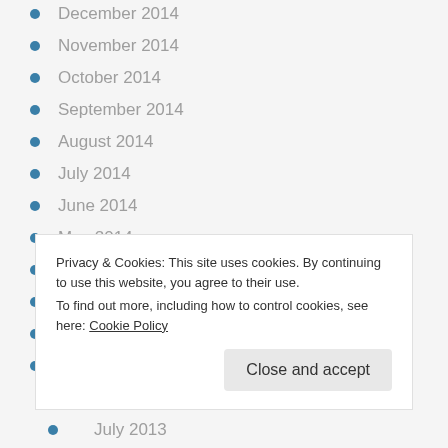December 2014
November 2014
October 2014
September 2014
August 2014
July 2014
June 2014
May 2014
April 2014
March 2014
February 2014
January 2014
Privacy & Cookies: This site uses cookies. By continuing to use this website, you agree to their use. To find out more, including how to control cookies, see here: Cookie Policy
July 2013